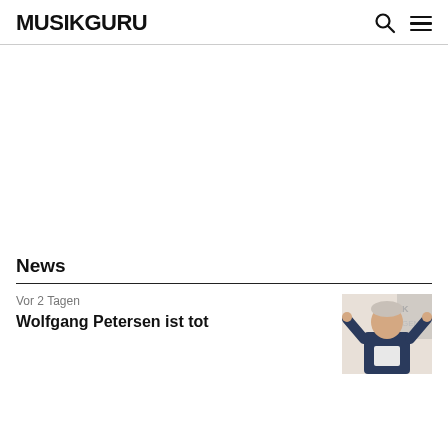MUSIKGURU
News
Vor 2 Tagen
Wolfgang Petersen ist tot
[Figure (photo): Photo of Wolfgang Petersen waving, shown at an event with signage in background]